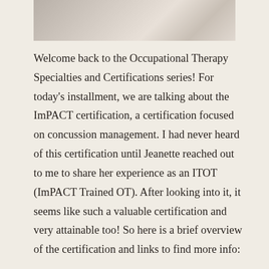[Figure (photo): Partial photo at top of page, appears to show a cup or mug, light grey/beige tones]
Welcome back to the Occupational Therapy Specialties and Certifications series! For today's installment, we are talking about the ImPACT certification, a certification focused on concussion management. I had never heard of this certification until Jeanette reached out to me to share her experience as an ITOT (ImPACT Trained OT). After looking into it, it seems like such a valuable certification and very attainable too! So here is a brief overview of the certification and links to find more info:
The ImPACT Trained OT program aims to help OTs learn best practices in concussion rehabilitation and management. Course content includes: Clinical Trajectories, OT Post-Concussion Intervention, Vision